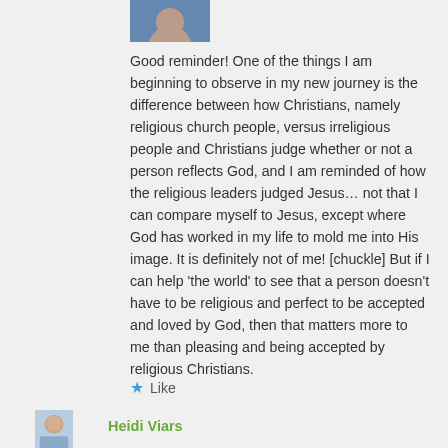[Figure (photo): Partial profile photo at top, cropped showing only bottom portion of person's face/shoulders]
Good reminder! One of the things I am beginning to observe in my new journey is the difference between how Christians, namely religious church people, versus irreligious people and Christians judge whether or not a person reflects God, and I am reminded of how the religious leaders judged Jesus… not that I can compare myself to Jesus, except where God has worked in my life to mold me into His image. It is definitely not of me! [chuckle] But if I can help 'the world' to see that a person doesn't have to be religious and perfect to be accepted and loved by God, then that matters more to me than pleasing and being accepted by religious Christians.
★ Like
[Figure (photo): Profile photo of Heidi Viars, partial view at bottom]
Heidi Viars